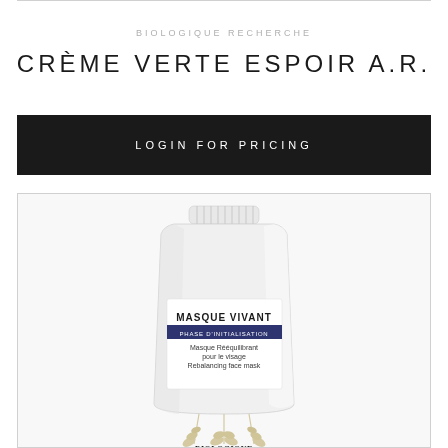BIOLOGIQUE RECHERCHE
CRÈME VERTE ESPOIR A.R.
LOGIN FOR PRICING
[Figure (photo): Product tube of Masque Vivant by Biologique Recherche — a white squeeze tube with navy label reading 'MASQUE VIVANT / PHASE D'INITIALISATION / Masque Rééquilibrant pour le visage / Rebalancing face mask' and 'BIOLOGIQUE RECHERCHE' at the bottom.]